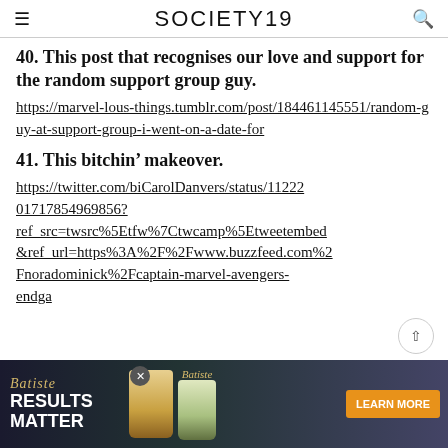SOCIETY19
40. This post that recognises our love and support for the random support group guy.
https://marvel-lous-things.tumblr.com/post/184461145551/random-guy-at-support-group-i-went-on-a-date-for
41. This bitchin’ makeover.
https://twitter.com/biCarolDanvers/status/1122201717854969856?ref_src=twsrc%5Etfw%7Ctwcamp%5Etweetembed&ref_url=https%3A%2F%2Fwww.buzzfeed.com%2Fnoradominick%2Fcaptain-marvel-avengers-endga